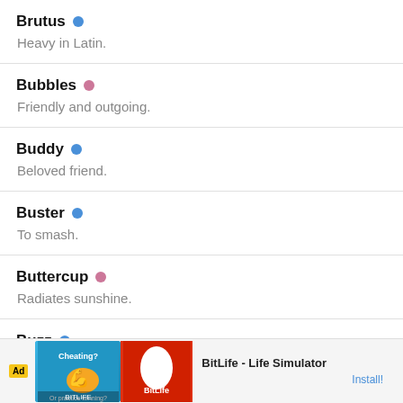Brutus • Heavy in Latin.
Bubbles • Friendly and outgoing.
Buddy • Beloved friend.
Buster • To smash.
Buttercup • Radiates sunshine.
Buzz • (description partially obscured by ad)
[Figure (other): Advertisement banner for BitLife - Life Simulator app with Install button]